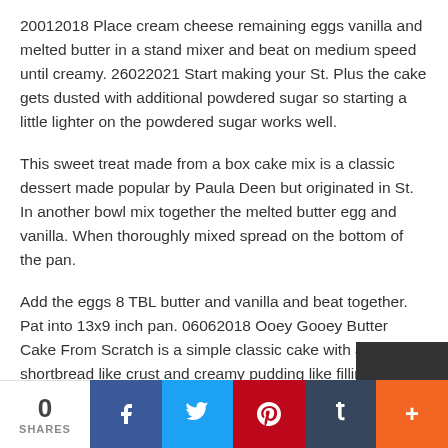20012018 Place cream cheese remaining eggs vanilla and melted butter in a stand mixer and beat on medium speed until creamy. 26022021 Start making your St. Plus the cake gets dusted with additional powdered sugar so starting a little lighter on the powdered sugar works well.
This sweet treat made from a box cake mix is a classic dessert made popular by Paula Deen but originated in St. In another bowl mix together the melted butter egg and vanilla. When thoroughly mixed spread on the bottom of the pan.
Add the eggs 8 TBL butter and vanilla and beat together. Pat into 13x9 inch pan. 06062018 Ooey Gooey Butter Cake From Scratch is a simple classic cake with a shortbread like crust and creamy pudding like filling.
Apple Gooey Butter Cake Cabin In The Woods. Give th
[Figure (other): Social sharing bar with share count (0 SHARES) and buttons for Facebook, Twitter, Pinterest, Tumblr, and More (+)]